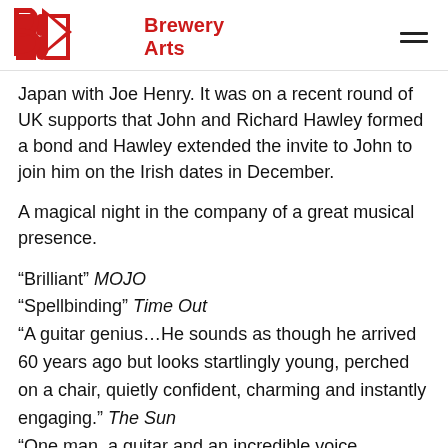Brewery Arts
Japan with Joe Henry. It was on a recent round of UK supports that John and Richard Hawley formed a bond and Hawley extended the invite to John to join him on the Irish dates in December.
A magical night in the company of a great musical presence.
“Brilliant” MOJO
“Spellbinding” Time Out
“A guitar genius…He sounds as though he arrived 60 years ago but looks startlingly young, perched on a chair, quietly confident, charming and instantly engaging.” The Sun
“One man, a guitar and an incredible voice… mesmerising” BBC
“His performance was an object lesson in how taste and imagination always outweigh mere musical